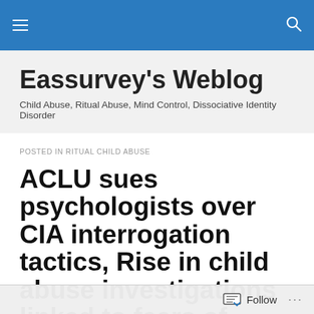Eassurvey's Weblog – navigation header
Eassurvey's Weblog
Child Abuse, Ritual Abuse, Mind Control, Dissociative Identity Disorder
POSTED IN RITUAL CHILD ABUSE
ACLU sues psychologists over CIA interrogation tactics, Rise in child abuse investigations linked to fears of witchcraft
ACLU sues psychologists over CIA interrogation tactics
Follow